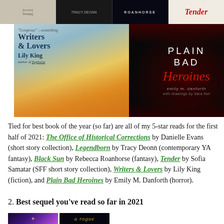[Figure (photo): Top banner showing four book covers cropped: a light-colored cover, Tracy Deonn Legendborn cover (dark), Roanhorse Black Sun cover (dark), and Tender cover (red italic script on light background).]
[Figure (photo): Two book covers side by side: left is Writers & Lovers by Lily King (colorful illustration with blue, orange tones), right is Plain Bad Heroines by Emily M. Danforth (dark cover with red floral/insect motifs and white and red lettering).]
Tied for best book of the year (so far) are all of my 5-star reads for the first half of 2021: The Office of Historical Corrections by Danielle Evans (short story collection), Legendborn by Tracy Deonn (contemporary YA fantasy), Black Sun by Rebecca Roanhorse (fantasy), Tender by Sofia Samatar (SFF short story collection), Writers & Lovers by Lily King (fiction), and Plain Bad Heroines by Emily M. Danforth (horror).
2. Best sequel you've read so far in 2021
[Figure (photo): Bottom partial view of two book covers: a purple/galaxy cover on the left and a dark cover with partial gold italic text on the right.]